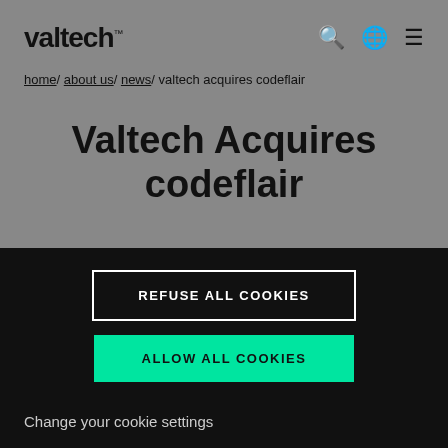valtech
home/ about us/ news/ valtech acquires codeflair
Valtech Acquires codeflair
REFUSE ALL COOKIES
ALLOW ALL COOKIES
Change your cookie settings